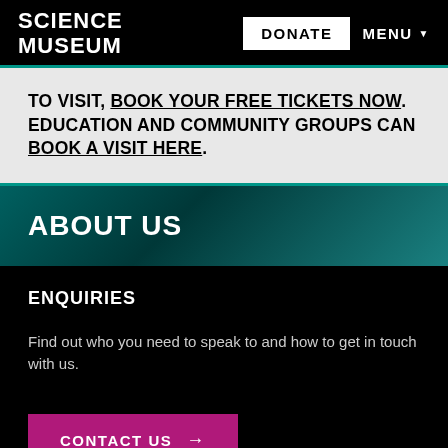SCIENCE MUSEUM
TO VISIT, BOOK YOUR FREE TICKETS NOW. EDUCATION AND COMMUNITY GROUPS CAN BOOK A VISIT HERE.
ABOUT US
ENQUIRIES
Find out who you need to speak to and how to get in touch with us.
CONTACT US →